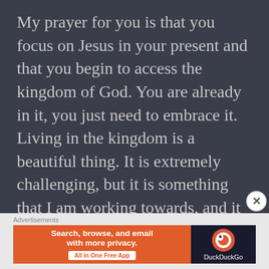My prayer for you is that you focus on Jesus in your present and that you begin to access the kingdom of God. You are already in it, you just need to embrace it. Living in the kingdom is a beautiful thing. It is extremely challenging, but it is something that I am working towards, and it looks a lot like trying to slow down and walk with Jesus in every moment, letting Him be at the forefront of my thoughts and actions. In Acts 4 there is a beautiful example of what living in the kingdom looks like. When we access the
[Figure (screenshot): Advertisement banner: DuckDuckGo app ad with orange left panel reading 'Search, browse, and email with more privacy. All in One Free App' and dark right panel with DuckDuckGo logo and name.]